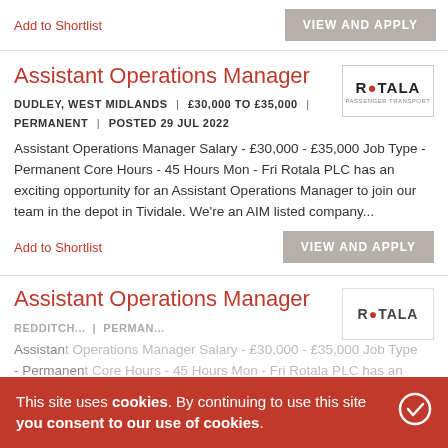Add to Shortlist
VIEW AND APPLY
Assistant Operations Manager
DUDLEY, WEST MIDLANDS | £30,000 TO £35,000 | PERMANENT | POSTED 29 JUL 2022
Assistant Operations Manager Salary - £30,000 - £35,000 Job Type - Permanent Core Hours - 45 Hours Mon - Fri Rotala PLC has an exciting opportunity for an Assistant Operations Manager to join our team in the depot in Tividale. We're an AIM listed company...
Add to Shortlist
VIEW AND APPLY
Assistant Operations Manager
REDDITC... | PERMAN...
Assistant Operations Manager Salary - £30,000 - £35,000 Job Type - Permanent Core Hours - 45 Hours Mon - Fri Rotala PLC has an
This site uses cookies. By continuing to use this site you consent to our use of cookies.